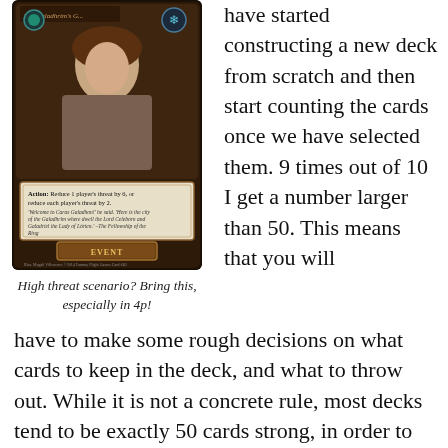[Figure (photo): A game card called 'The Galadhrim's Greeting' showing a woman in fantasy attire, with card text: Action: Reduce 1 player's threat by 6, or reduce each player's threat by 2. Quote from The Fellowship of the Ring. Card type: EVENT.]
High threat scenario? Bring this, especially in 4p!
have started constructing a new deck from scratch and then start counting the cards once we have selected them. 9 times out of 10 I get a number larger than 50. This means that you will have to make some rough decisions on what cards to keep in the deck, and what to throw out. While it is not a concrete rule, most decks tend to be exactly 50 cards strong, in order to optimise the chances of you finding important cards in your